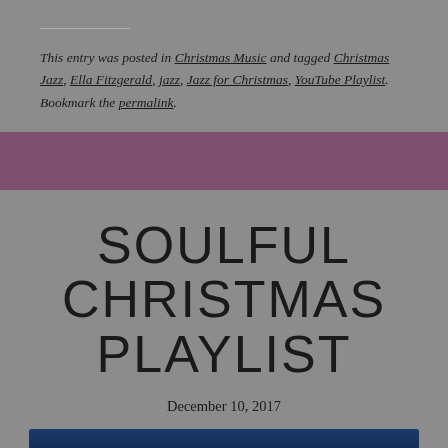This entry was posted in Christmas Music and tagged Christmas Jazz, Ella Fitzgerald, jazz, Jazz for Christmas, YouTube Playlist. Bookmark the permalink.
SOULFUL CHRISTMAS PLAYLIST
December 10, 2017
[Figure (photo): Partial image strip at bottom showing blue-toned photo with italic cursive text 'Stevie Wonder & Naturart']